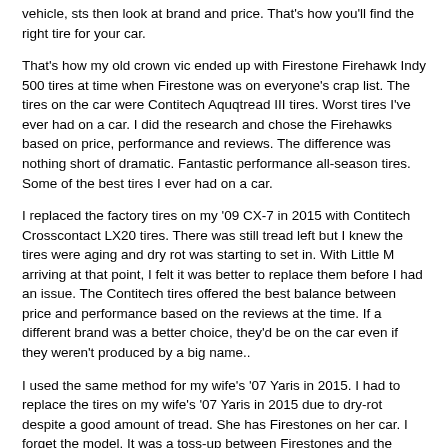vehicle, sts then look at brand and price. That's how you'll find the right tire for your car.
That's how my old crown vic ended up with Firestone Firehawk Indy 500 tires at time when Firestone was on everyone's crap list. The tires on the car were Contitech Aquqtread III tires. Worst tires I've ever had on a car. I did the research and chose the Firehawks based on price, performance and reviews. The difference was nothing short of dramatic. Fantastic performance all-season tires. Some of the best tires I ever had on a car.
I replaced the factory tires on my '09 CX-7 in 2015 with Contitech Crosscontact LX20 tires. There was still tread left but I knew the tires were aging and dry rot was starting to set in. With Little M arriving at that point, I felt it was better to replace them before I had an issue. The Contitech tires offered the best balance between price and performance based on the reviews at the time. If a different brand was a better choice, they'd be on the car even if they weren't produced by a big name..
I used the same method for my wife's '07 Yaris in 2015. I had to replace the tires on my wife's '07 Yaris in 2015 due to dry-rot despite a good amount of tread. She has Firestones on her car. I forget the model. It was a toss-up between Firestones and the same contitechs that are on my Mazda. The Firestones edged out on price.
So, do your homework. Don't go by brand. Go by what I said earlier and you'll find just the right tires.
FWIW, the tires put on the factory tend to be crappytacular. Not always but typically. No surprise that they need replacement so